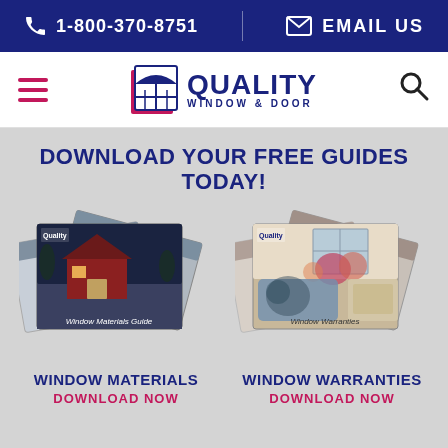1-800-370-8751 | EMAIL US
[Figure (logo): Quality Window & Door logo with window icon graphic, hamburger menu icon on left, search icon on right]
DOWNLOAD YOUR FREE GUIDES TODAY!
[Figure (illustration): Stack of Window Materials Guide booklets showing a modern house exterior at night]
[Figure (illustration): Stack of Window Warranties booklets showing a cozy interior with flowers and pillows]
WINDOW MATERIALS
DOWNLOAD NOW
WINDOW WARRANTIES
DOWNLOAD NOW